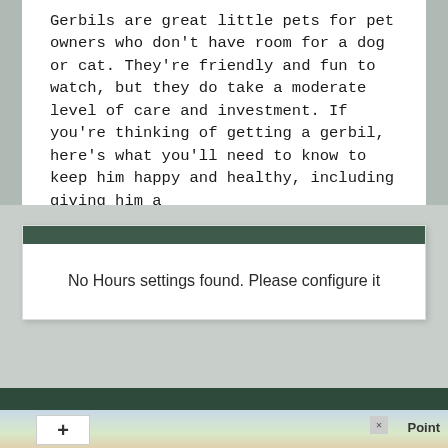Gerbils are great little pets for pet owners who don't have room for a dog or cat. They're friendly and fun to watch, but they do take a moderate level of care and investment. If you're thinking of getting a gerbil, here's what you'll need to know to keep him happy and healthy, including giving him a
Read more
No Hours settings found. Please configure it
[Figure (screenshot): Map view with zoom controls showing '+' button, an 'x' close button, and a 'Point' label against a light map background.]